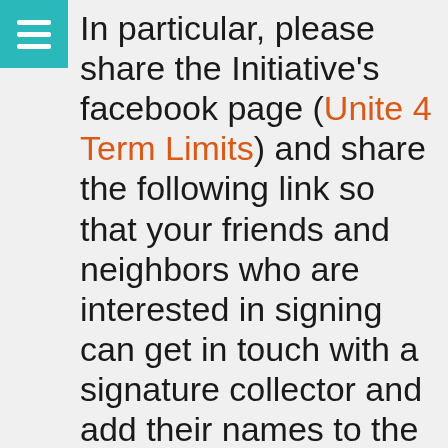In particular, please share the Initiative's facebook page (Unite 4 Term Limits) and share the following link so that your friends and neighbors who are interested in signing can get in touch with a signature collector and add their names to the cause: https://unite4termlimits.nationbuilder.com/s
[Figure (screenshot): A red button/logo element with rounded top and stacked rectangular sections, with text 'Sign Me Up to Collect Signatures' on white background]